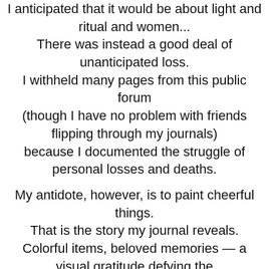I anticipated that it would be about light and ritual and women... There was instead a good deal of unanticipated loss. I withheld many pages from this public forum (though I have no problem with friends flipping through my journals) because I documented the struggle of personal losses and deaths.

My antidote, however, is to paint cheerful things. That is the story my journal reveals. Colorful items, beloved memories — a visual gratitude defying the sadness and craziness of our country and the horror of the stories. If I didn't practice gratitude I do not know how I'd make it.